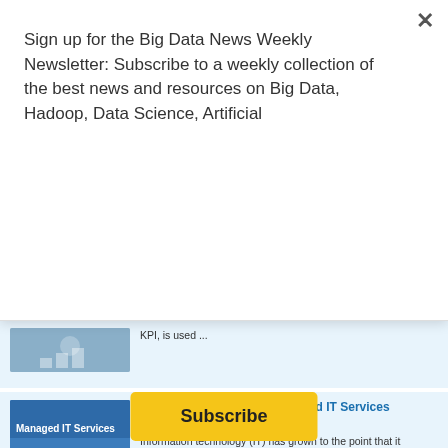Sign up for the Big Data News Weekly Newsletter: Subscribe to a weekly collection of the best news and resources on Big Data, Hadoop, Data Science, Artificial
Subscribe
KPI, is used ...
The Pros And Cons Of Managed IT Services
August 23, 2022
Information technology (IT) has grown to the point that it underpins most ...
Top Upcoming Android Phones to Look Forward to in the Second Half of 2022
August 20, 2022
Do you keep tabs on every new smartphone that comes out? In ...